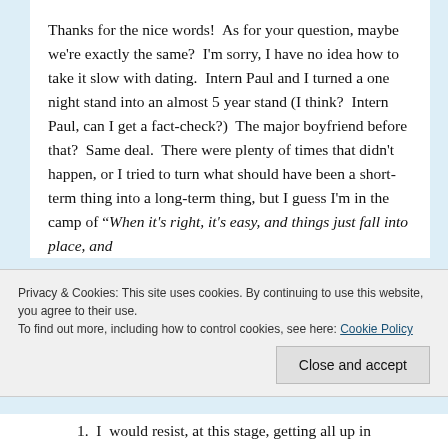Thanks for the nice words!  As for your question, maybe we're exactly the same?  I'm sorry, I have no idea how to take it slow with dating.  Intern Paul and I turned a one night stand into an almost 5 year stand (I think?  Intern Paul, can I get a fact-check?)  The major boyfriend before that?  Same deal.  There were plenty of times that didn't happen, or I tried to turn what should have been a short-term thing into a long-term thing, but I guess I'm in the camp of "When it's right, it's easy, and things just fall into place, and
Privacy & Cookies: This site uses cookies. By continuing to use this website, you agree to their use.
To find out more, including how to control cookies, see here: Cookie Policy
Close and accept
1.  I  would resist, at this stage, getting all up in